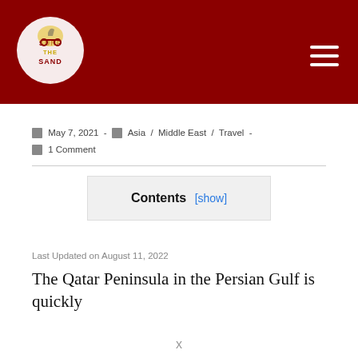Surf the Sand logo and navigation menu
May 7, 2021  -  Asia / Middle East / Travel  -  1 Comment
Contents [show]
Last Updated on August 11, 2022
The Qatar Peninsula in the Persian Gulf is quickly